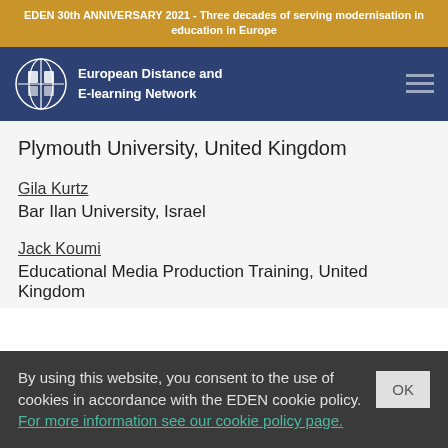EDEN 30th ANNIVERSARY 2021 - Three decades of serving modernisation in education in Europe
[Figure (logo): EDEN European Distance and E-learning Network logo with navigation bar]
Plymouth University, United Kingdom
Gila Kurtz
Bar Ilan University, Israel
Jack Koumi
Educational Media Production Training, United Kingdom
By using this website, you consent to the use of cookies in accordance with the EDEN cookie policy. For more information see our cookie policy page.